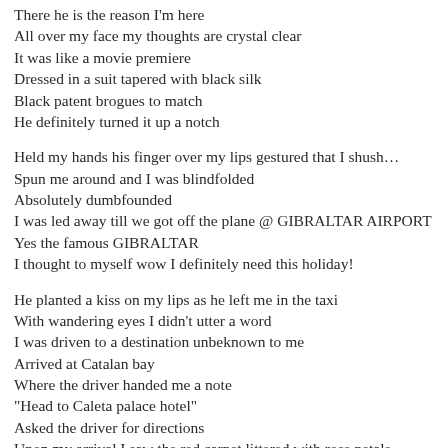There he is the reason I'm here
All over my face my thoughts are crystal clear
It was like a movie premiere
Dressed in a suit tapered with black silk
Black patent brogues to match
He definitely turned it up a notch

Held my hands his finger over my lips gestured that I shush…
Spun me around and I was blindfolded
Absolutely dumbfounded
I was led away till we got off the plane @ GIBRALTAR AIRPORT
Yes the famous GIBRALTAR
I thought to myself wow I definitely need this holiday!

He planted a kiss on my lips as he left me in the taxi
With wandering eyes I didn't utter a word
I was driven to a destination unbeknown to me
Arrived at Catalan bay
Where the driver handed me a note
"Head to Caleta palace hotel"
Asked the driver for directions
Upon my arrival I saw the red carpet littered with rose petals
As I was met by a chariot to be chicked away